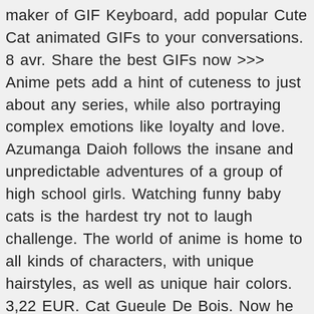maker of GIF Keyboard, add popular Cute Cat animated GIFs to your conversations. 8 avr. Share the best GIFs now >>> Anime pets add a hint of cuteness to just about any series, while also portraying complex emotions like loyalty and love. Azumanga Daioh follows the insane and unpredictable adventures of a group of high school girls. Watching funny baby cats is the hardest try not to laugh challenge. The world of anime is home to all kinds of characters, with unique hairstyles, as well as unique hair colors. 3,22 EUR. Cat Gueule De Bois. Now he spends his time trying to assert his authority as the oldest (he's twenty in cat years, okay?) Discover and Share the best GIFs on Tenor. Livraison gratuite . If you are looking for cute cat names to go along with your new cute little kitten, then you've come to the perfect place. Du streaming de manga et du streaming d'anime à volonté HD wallpapers and background images Meow~ … 240 votes - 65%. Kitten Cat Fluffy Cat. And these days, they're pretty much inseparable from the medium. Chi is great because the cat is a character both adults and children can